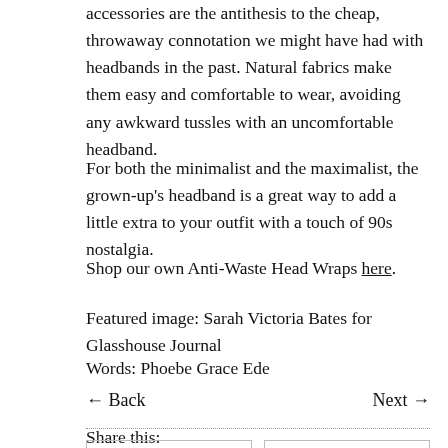accessories are the antithesis to the cheap, throwaway connotation we might have had with headbands in the past. Natural fabrics make them easy and comfortable to wear, avoiding any awkward tussles with an uncomfortable headband.
For both the minimalist and the maximalist, the grown-up's headband is a great way to add a little extra to your outfit with a touch of 90s nostalgia.
Shop our own Anti-Waste Head Wraps here.
Featured image: Sarah Victoria Bates for Glasshouse Journal
Words: Phoebe Grace Ede
← Back   Next →
Share this: